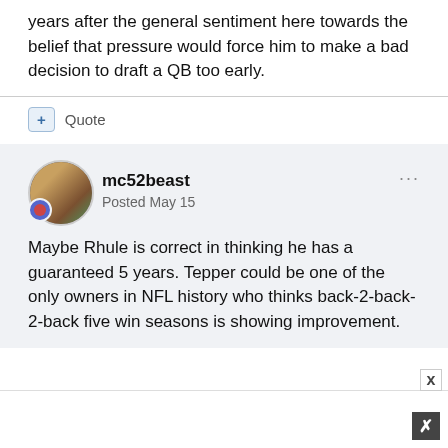years after the general sentiment here towards the belief that pressure would force him to make a bad decision to draft a QB too early.
+ Quote
mc52beast
Posted May 15
Maybe Rhule is correct in thinking he has a guaranteed 5 years. Tepper could be one of the only owners in NFL history who thinks back-2-back-2-back five win seasons is showing improvement.